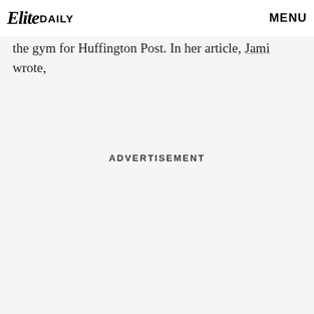Elite Daily | MENU
shared and supported that the actress subsequently wrote a thorough piece about body shaming at the gym for Huffington Post. In her article, Jami wrote,
ADVERTISEMENT